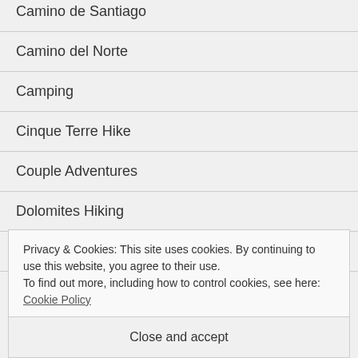Camino de Santiago
Camino del Norte
Camping
Cinque Terre Hike
Couple Adventures
Dolomites Hiking
Hiking
Privacy & Cookies: This site uses cookies. By continuing to use this website, you agree to their use.
To find out more, including how to control cookies, see here: Cookie Policy
Close and accept